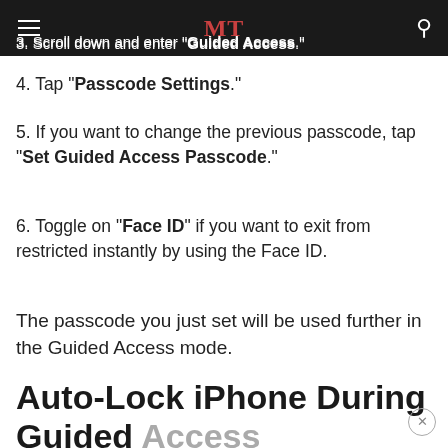MT
3. Scroll down and enter "Guided Access."
4. Tap "Passcode Settings."
5. If you want to change the previous passcode, tap "Set Guided Access Passcode."
6. Toggle on "Face ID" if you want to exit from restricted instantly by using the Face ID.
The passcode you just set will be used further in the Guided Access mode.
Auto-Lock iPhone During Guided Access